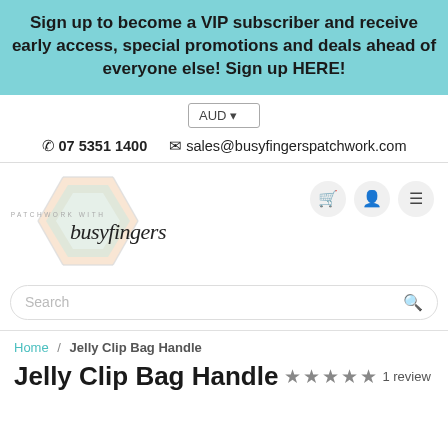Sign up to become a VIP subscriber and receive early access, special promotions and deals ahead of everyone else! Sign up HERE!
AUD
07 5351 1400  sales@busyfingerspatchwork.com
[Figure (logo): Patchwork with Busy Fingers logo - hexagonal geometric shape in pastel peach and mint tones with cursive 'busyfingers' text and 'PATCHWORK WITH' above]
Search
Home / Jelly Clip Bag Handle
Jelly Clip Bag Handle